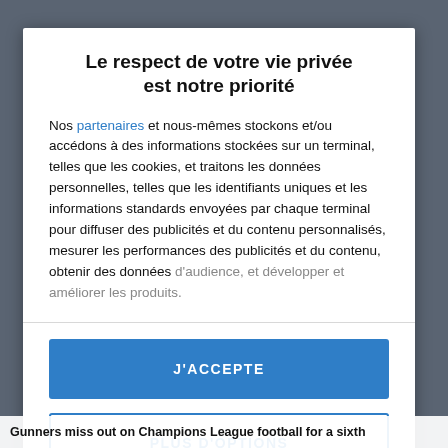Le respect de votre vie privée est notre priorité
Nos partenaires et nous-mêmes stockons et/ou accédons à des informations stockées sur un terminal, telles que les cookies, et traitons les données personnelles, telles que les identifiants uniques et les informations standards envoyées par chaque terminal pour diffuser des publicités et du contenu personnalisés, mesurer les performances des publicités et du contenu, obtenir des données d'audience, et développer et améliorer les produits.
J'ACCEPTE
PLUS D'OPTIONS
Gunners miss out on Champions League football for a sixth...